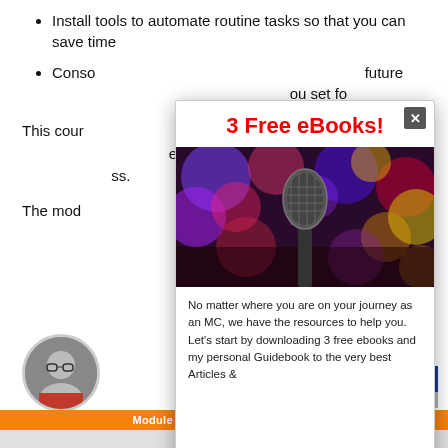Install tools to automate routine tasks so that you can save time
Consolidate future [content obscured by modal] you set for[ward]
This cour[se covers] 10 individua[l modules that] e effective [ways to achieve suc]cess.
The mod[ules are designed so you can] skip around if [you prefer, or go one module] at a time.
[Figure (photo): Person avatar/headshot circle at bottom left]
[Figure (photo): Blue/grey square box at bottom right]
[Figure (other): Modal popup overlay with '3 Free eBooks!' heading in red, a photo of a microphone on stage with colorful bokeh lights, and text about downloading free ebooks]
No matter where you are on your journey as an MC, we have the resources to help you. Let's start by downloading 3 free ebooks and my personal Guidebook to the very best Articles &
Module 2 – Create Your Media Kit